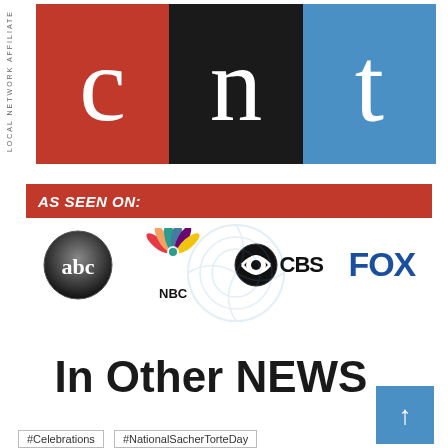[Figure (logo): CNT logo with three colored panels: red 'c', dark/black 'n', blue 't'. Vertical text on left reads 'LOCAL NETWORK AFFILIATE'.]
[Figure (infographic): Red banner reading 'AS SEEN ON:' followed by network logos: ABC, NBC, CBS, FOX]
In Other NEWS
[Figure (other): Blue square button with upward arrow (↑)]
#Celebrations   #NationalSacherTorteDay